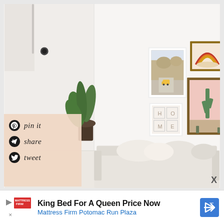[Figure (photo): Interior room photo showing a minimalist white living space with gallery wall featuring three framed art prints (desert landscape with yellow van, rainbow abstract, pink cactus), a white sofa with plush pillows, and a leafy green plant in the corner.]
[Figure (infographic): Social sharing overlay on a peach/salmon background with Pinterest pin-it, share (Telegram), and Twitter tweet icons with handwritten-style text labels.]
X
[Figure (infographic): Advertisement banner for Mattress Firm Potomac Run Plaza: 'King Bed For A Queen Price Now' with Mattress Firm logo, blue navigation arrow icon, and small X/close button.]